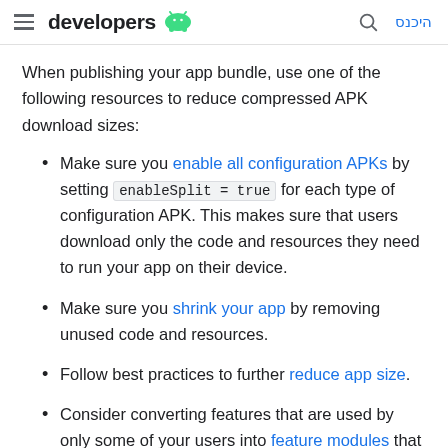developers [android logo] | [search icon] היכנס
When publishing your app bundle, use one of the following resources to reduce compressed APK download sizes:
Make sure you enable all configuration APKs by setting enableSplit = true for each type of configuration APK. This makes sure that users download only the code and resources they need to run your app on their device.
Make sure you shrink your app by removing unused code and resources.
Follow best practices to further reduce app size.
Consider converting features that are used by only some of your users into feature modules that your app can download later, on demand. Keep in mind, this may require some refactoring of your app, so make sure to first try the other suggestions described